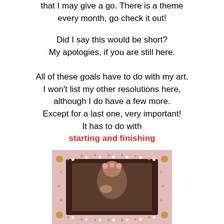that I may give a go. There is a theme every month, go check it out!
Did I say this would be short? My apologies, if you are still here.
All of these goals have to do with my art. I won't list my other resolutions here, although I do have a few more. Except for a last one, very important! It has to do with starting and finishing
[Figure (photo): Vintage photo of a young girl with pink flowers in her hair, leaning on her hand, set in a decorative frame with gold starfish and pearl embellishments on a pink background.]